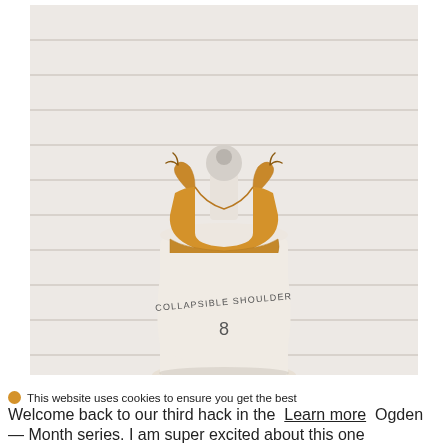[Figure (photo): A mustard yellow crop top with tie shoulders displayed on a white dress form mannequin labeled 'COLLAPSIBLE SHOULDER 8', set against a white brick wall background.]
This website uses cookies to ensure you get the best experience on our website. Learn more
Welcome back to our third hack in the Ogden Month series. I am super excited about this one